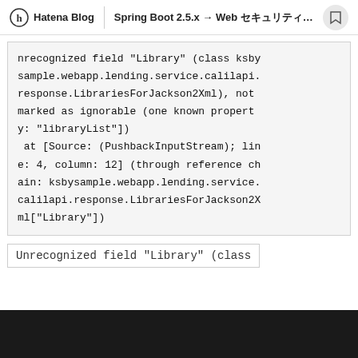Hatena Blog | Spring Boot 2.5.x → Web セキュリティ 2.6.x 移行...
nrecognized field "Library" (class ksbysample.webapp.lending.service.calilapi.response.LibrariesForJackson2Xml), not marked as ignorable (one known property: "libraryList")\n at [Source: (PushbackInputStream); line: 4, column: 12] (through reference chain: ksbysample.webapp.lending.service.calilapi.response.LibrariesForJackson2Xml["Library"])
Unrecognized field "Library" (class